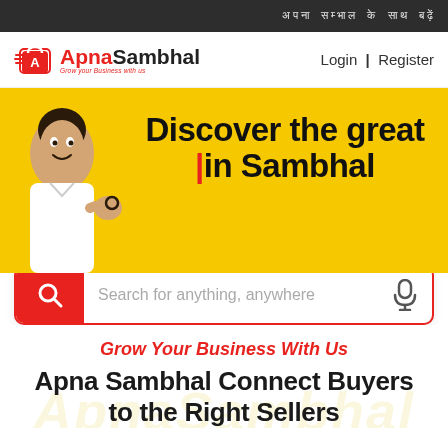अपना सम्भाल के साथ बढ़ें
[Figure (logo): ApnaSambhal logo with shopping bag icon and red/black text]
Login | Register
[Figure (illustration): Yellow hero banner with man making OK gesture, text: Discover the great in Sambhal]
Search for anything, anywhere
Grow Your Business With Us
Apna Sambhal Connect Buyers to the Right Sellers